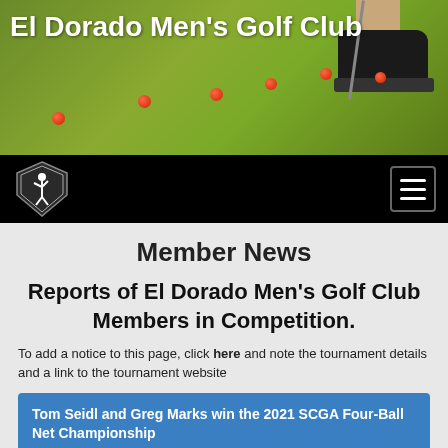[Figure (photo): Golf green with red practice balls lined up and a golfer's legs and putter visible on the right side; text 'El Dorado Men's Golf Club' overlaid in white]
[Figure (logo): El Dorado Men's Golf Club shield logo in white on black navbar with hamburger menu icon on the right]
Member News
Reports of El Dorado Men's Golf Club Members in Competition.
To add a notice to this page, click here and note the tournament details and a link to the tournament website
Tom Seidl and Greg Marks win the 2021 SCGA Four-Ball Net Championship